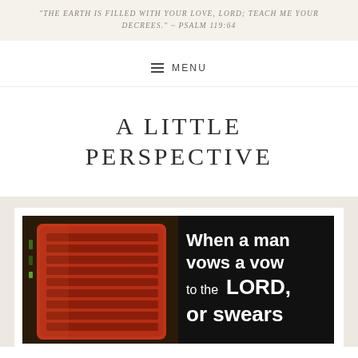"The earth is filled with your love, Lord; teach me your decrees." ~ Psalm 119:64
≡ MENU
A LITTLE PERSPECTIVE
[Figure (photo): A red vintage tractor grille on the left, and on the right a dark background with bold white text reading 'When a man vows a vow to the LORD, or swears']